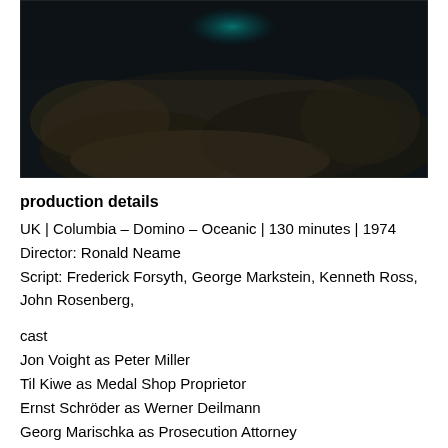[Figure (photo): Dark, blurry film still showing a dimly lit scene with dark tones. A faint teal/blue light is visible in the upper center area. The image appears to be from a cinematic or dramatic scene.]
production details
UK | Columbia – Domino – Oceanic | 130 minutes | 1974
Director: Ronald Neame
Script: Frederick Forsyth, George Markstein, Kenneth Ross, John Rosenberg,
cast
Jon Voight as Peter Miller
Til Kiwe as Medal Shop Proprietor
Ernst Schröder as Werner Deilmann
Georg Marischka as Prosecution Attorney